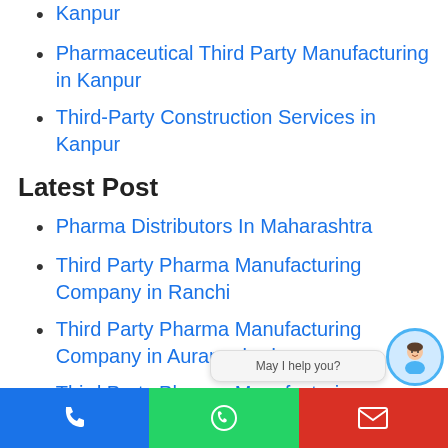Kanpur
Pharmaceutical Third Party Manufacturing in Kanpur
Third-Party Construction Services in Kanpur
Latest Post
Pharma Distributors In Maharashtra
Third Party Pharma Manufacturing Company in Ranchi
Third Party Pharma Manufacturing Company in Aurangabad
Third Party Pharma Manufacturing Company in Coimbatore
[Figure (screenshot): Chat widget with avatar and 'May I help you?' bubble, plus bottom navigation bar with phone (blue), WhatsApp (green), and email (red) buttons]